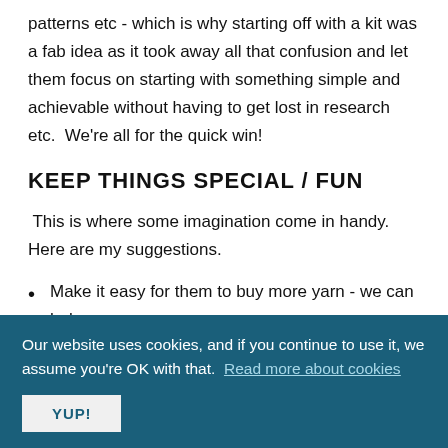patterns etc - which is why starting off with a kit was a fab idea as it took away all that confusion and let them focus on starting with something simple and achievable without having to get lost in research etc.  We're all for the quick win!
KEEP THINGS SPECIAL / FUN
This is where some imagination come in handy. Here are my suggestions.
Make it easy for them to buy more yarn - we can help
Our website uses cookies, and if you continue to use it, we assume you're OK with that.  Read more about cookies
YUP!
Have a night out to celebrate being awesome knitters